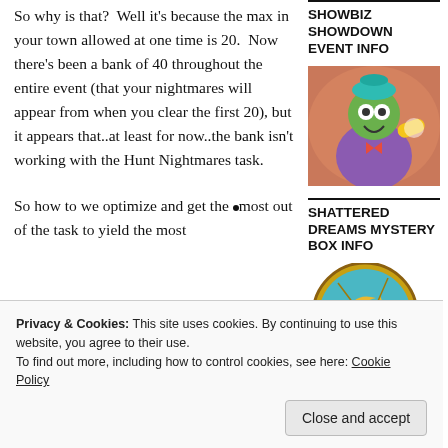So why is that?  Well it's because the max in your town allowed at one time is 20.  Now there's been a bank of 40 throughout the entire event (that your nightmares will appear from when you clear the first 20), but it appears that..at least for now..the bank isn't working with the Hunt Nightmares task.
So how to we optimize and get the most out of the task to yield the most
SHOWBIZ SHOWDOWN EVENT INFO
[Figure (illustration): Cartoon character illustration - a clown-like figure in purple and green costume against an orange/red background]
SHATTERED DREAMS MYSTERY BOX INFO
[Figure (illustration): Cookie/medallion illustration with a moon and stars design on a blue and gold circular badge]
Privacy & Cookies: This site uses cookies. By continuing to use this website, you agree to their use. To find out more, including how to control cookies, see here: Cookie Policy
Close and accept